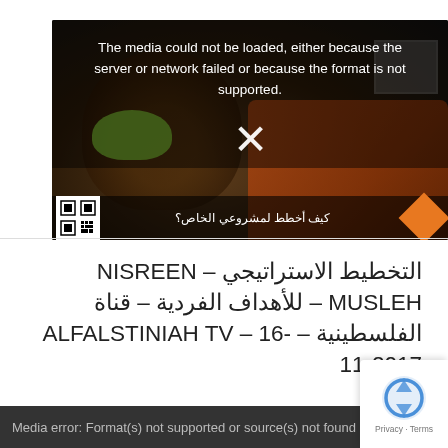[Figure (screenshot): Video player showing a media loading error. Background shows a person wearing a green hijab seated on an orange couch. A dark overlay displays the error message: 'The media could not be loaded, either because the server or network failed or because the format is not supported.' with a white X icon. Bottom bar shows a QR code and Arabic text overlay.]
التخطيط الاستراتيجي – NISREEN MUSLEH – للأهداف الفردية – قناة الفلسطينية – ALFALSTINIAH TV – 16-11-2017
Media error: Format(s) not supported or source(s) not found